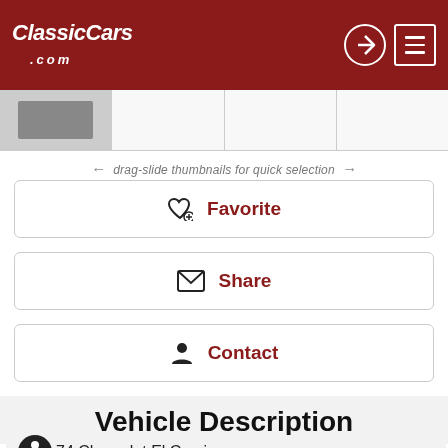ClassicCars.com
[Figure (screenshot): Thumbnail strip showing a partial car image on the left and three empty thumbnail slots]
← drag-slide thumbnails for quick selection →
Favorite
Share
Contact
Vehicle Description
1974 Chevrolet El Camino
Rumor has it that Mattel's Elliot Handler (the 'el' in Mattel) named his car Barbie's El Camino...